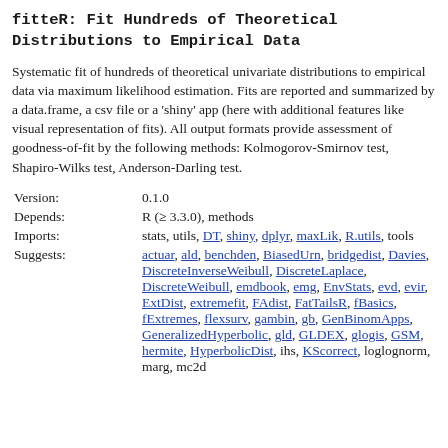fitteR: Fit Hundreds of Theoretical Distributions to Empirical Data
Systematic fit of hundreds of theoretical univariate distributions to empirical data via maximum likelihood estimation. Fits are reported and summarized by a data.frame, a csv file or a 'shiny' app (here with additional features like visual representation of fits). All output formats provide assessment of goodness-of-fit by the following methods: Kolmogorov-Smirnov test, Shapiro-Wilks test, Anderson-Darling test.
| Field | Value |
| --- | --- |
| Version: | 0.1.0 |
| Depends: | R (≥ 3.3.0), methods |
| Imports: | stats, utils, DT, shiny, dplyr, maxLik, R.utils, tools |
| Suggests: | actuar, ald, benchden, BiasedUrn, bridgedist, Davies, DiscreteInverseWeibull, DiscreteLaplace, DiscreteWeibull, emdbook, emg, EnvStats, evd, evir, ExtDist, extremefit, FAdist, FatTailsR, fBasics, fExtremes, flexsurv, gambin, gb, GenBinomApps, GeneralizedHyperbolic, gld, GLDEX, glogis, GSM, hermite, HyperbolicDist, ihs, KScorrect, loglognorm, marg, mc2d |